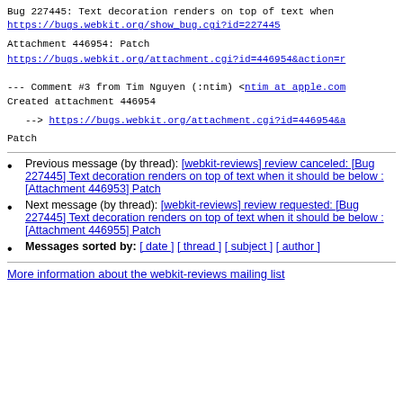Bug 227445: Text decoration renders on top of text when
https://bugs.webkit.org/show_bug.cgi?id=227445
Attachment 446954: Patch
https://bugs.webkit.org/attachment.cgi?id=446954&action=r
--- Comment #3 from Tim Nguyen (:ntim) <ntim at apple.com
Created attachment 446954
--> https://bugs.webkit.org/attachment.cgi?id=446954&a
Patch
Previous message (by thread): [webkit-reviews] review canceled: [Bug 227445] Text decoration renders on top of text when it should be below : [Attachment 446953] Patch
Next message (by thread): [webkit-reviews] review requested: [Bug 227445] Text decoration renders on top of text when it should be below : [Attachment 446955] Patch
Messages sorted by: [ date ] [ thread ] [ subject ] [ author ]
More information about the webkit-reviews mailing list